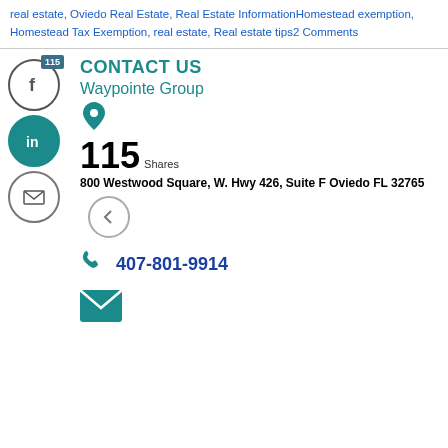real estate, Oviedo Real Estate, Real Estate InformationHomestead exemption, Homestead Tax Exemption, real estate, Real estate tips2 Comments
CONTACT US
Waypointe Group
115 Shares
800 Westwood Square, W. Hwy 426, Suite F Oviedo FL 32765
407-801-9914